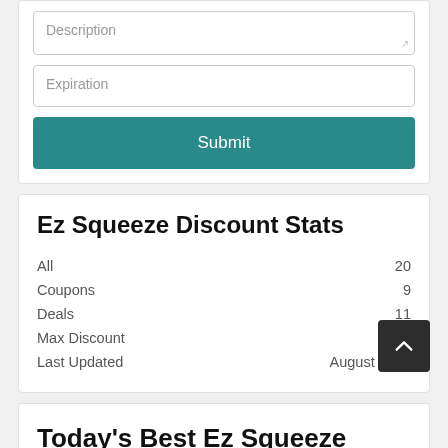Description
Expiration
Submit
Ez Squeeze Discount Stats
All  20
Coupons  9
Deals  11
Max Discount  86%
Last Updated  August 2022
Today's Best Ez Squeeze Promo Codes